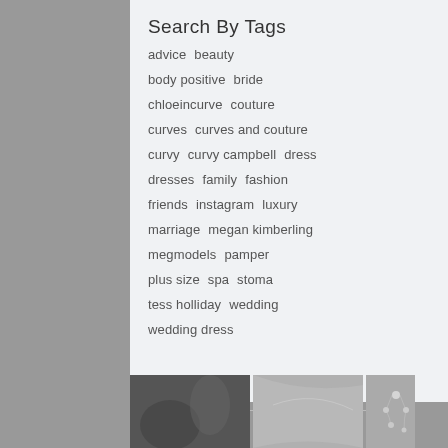[Figure (photo): Black and white photo of wedding dress with jeweled details, right side column]
Search By Tags
advice  beauty
body positive  bride
chloeincurve  couture
curves  curves and couture
curvy  curvy campbell  dress
dresses  family  fashion
friends  instagram  luxury
marriage  megan kimberling
megmodels  pamper
plus size  spa  stoma
tess holliday  wedding
wedding dress
[Figure (photo): Black and white photos of fabric and jeweled dress details at the bottom strip]